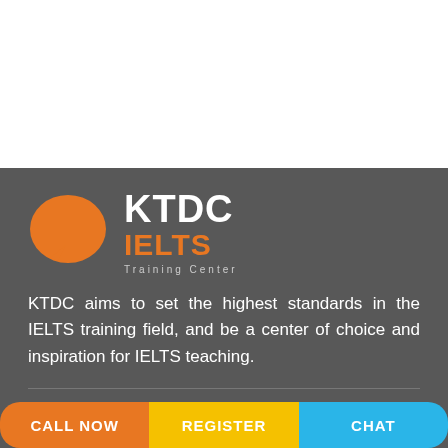[Figure (logo): KTDC IELTS Training Center logo with orange speech bubble icon and white/orange text on dark grey background]
KTDC aims to set the highest standards in the IELTS training field, and be a center of choice and inspiration for IELTS teaching.
Hotline
CALL NOW
REGISTER
CHAT